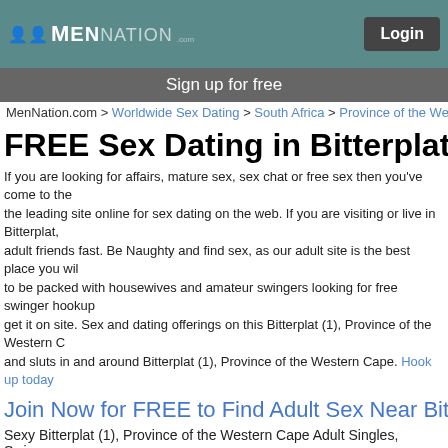MenNation Login
Sign up for free
MenNation.com > Worldwide Sex Dating > South Africa > Province of the Western
FREE Sex Dating in Bitterplat (1
If you are looking for affairs, mature sex, sex chat or free sex then you've come to the leading site online for sex dating on the web. If you are visiting or live in Bitterplat, adult friends fast. Be Naughty and find sex, as our adult site is the best place you will to be packed with housewives and amateur swingers looking for free swinger hookup get it on site. Sex and dating offerings on this Bitterplat (1), Province of the Western C and sluts in and around Bitterplat (1), Province of the Western Cape. Hook up today
Join Now for FREE to Find Adult Sex Near Bitt
Sexy Bitterplat (1), Province of the Western Cape Adult Singles, Swingers, MILFs, Lesbians, Sluts
[Figure (photo): Profile photo of freelance1956]
[Figure (photo): Profile photo of fletch662]
[Figure (photo): Profile photo of jason7994]